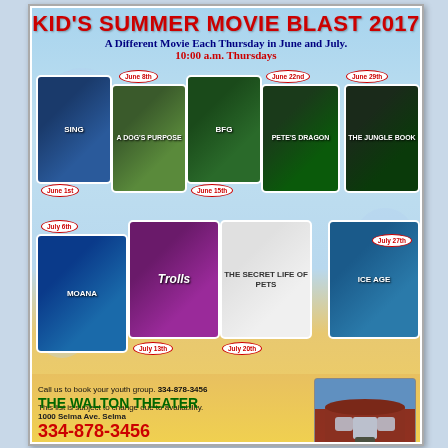KID'S SUMMER MOVIE BLAST 2017
A Different Movie Each Thursday in June and July.
10:00 a.m. Thursdays
[Figure (infographic): Movie poster collage showing: Sing (June 1st), A Dog's Purpose (June 8th), The BFG (June 15th), Pete's Dragon (June 22nd), The Jungle Book (June 29th) in row 1; Moana (July 6th), Trolls (July 13th), The Secret Life of Pets (July 20th), Ice Age (July 27th) in row 2]
Call us to book your youth group. 334-878-3456
This list is subject to change due to availability.
THE WALTON THEATER
1000 Selma Ave.  Selma
334-878-3456
www.waltontheaterselma.org